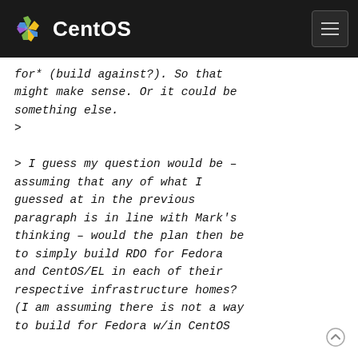CentOS
for* (build against?). So that might make sense. Or it could be something else.
>
> I guess my question would be – assuming that any of what I guessed at in the previous paragraph is in line with Mark's thinking – would the plan then be to simply build RDO for Fedora and CentOS/EL in each of their respective infrastructure homes? (I am assuming there is not a way to build for Fedora w/in CentOS